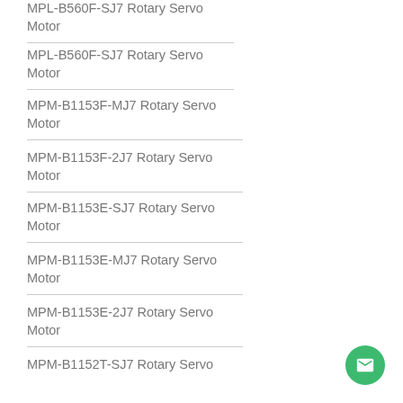MPL-B560F-SJ7 Rotary Servo Motor
MPM-B1153F-MJ7 Rotary Servo Motor
MPM-B1153F-2J7 Rotary Servo Motor
MPM-B1153E-SJ7 Rotary Servo Motor
MPM-B1153E-MJ7 Rotary Servo Motor
MPM-B1153E-2J7 Rotary Servo Motor
MPM-B1152T-SJ7 Rotary Servo Motor
MPM-B1152T-MJ7 Rotary Servo Motor
MPM-B1152T-2J7 Rotary Servo Motor